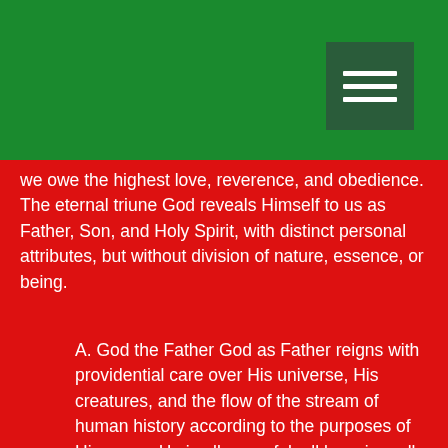we owe the highest love, reverence, and obedience. The eternal triune God reveals Himself to us as Father, Son, and Holy Spirit, with distinct personal attributes, but without division of nature, essence, or being.
A. God the Father God as Father reigns with providential care over His universe, His creatures, and the flow of the stream of human history according to the purposes of His grace. He is all powerful, all knowing, all loving, and all wise. God is Father in truth to those who become children of God through faith in Jesus Christ. He is fatherly in His attitude toward all men. Genesis 1:1; 2:7; Exodus 3:14; 6:2-7; 15:11ff.; 20:1ff.; Leviticus